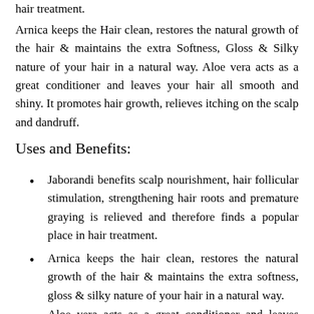hair treatment.
Arnica keeps the Hair clean, restores the natural growth of the hair & maintains the extra Softness, Gloss & Silky nature of your hair in a natural way. Aloe vera acts as a great conditioner and leaves your hair all smooth and shiny. It promotes hair growth, relieves itching on the scalp and dandruff.
Uses and Benefits:
Jaborandi benefits scalp nourishment, hair follicular stimulation, strengthening hair roots and premature graying is relieved and therefore finds a popular place in hair treatment.
Arnica keeps the hair clean, restores the natural growth of the hair & maintains the extra softness, gloss & silky nature of your hair in a natural way.
Aloe vera acts as a great conditioner and leaves your hair all smooth and shiny. It promotes hair growth, relieves itching on the scalp and dandruff.